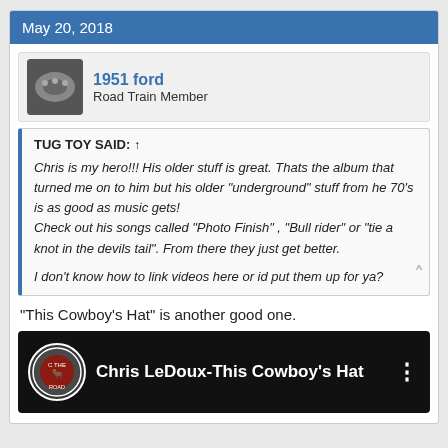May 20, 2018
1951 ford
Road Train Member
TUG TOY SAID: ↑
Chris is my hero!!! His older stuff is great. Thats the album that turned me on to him but his older "underground" stuff from he 70's is as good as music gets!
Check out his songs called "Photo Finish" , "Bull rider" or "tie a knot in the devils tail". From there they just get better.

I don't know how to link videos here or id put them up for ya?
"This Cowboy's Hat" is another good one.
[Figure (screenshot): YouTube video thumbnail for 'Chris LeDoux-This Cowboy's Hat' showing the video title with a channel icon on the left and a vertical dots menu on the right, dark background with a hat image visible.]